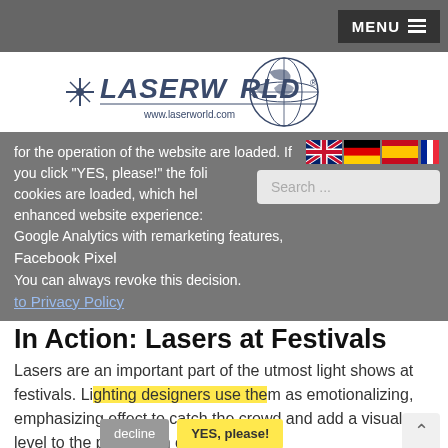MENU
[Figure (logo): Laserworld logo with globe and www.laserworld.com text]
for the operation of the website are loaded. If you click "YES, please!" the following cookies are loaded, which help to get an enhanced website experience:
Google Analytics with remarketing features,
Facebook Pixel
You can always revoke this decision.
to Privacy Policy
In Action: Lasers at Festivals
Lasers are an important part of the utmost light shows at festivals. Lighting designers use them as emotionalizing, emphasizing effect to catch the crowd and add a visual level to the perception of